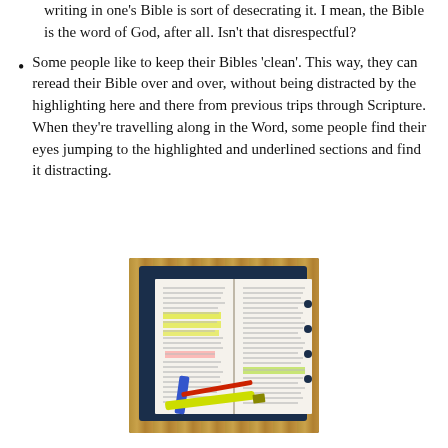writing in one's Bible is sort of desecrating it. I mean, the Bible is the word of God, after all. Isn't that disrespectful?
Some people like to keep their Bibles 'clean'. This way, they can reread their Bible over and over, without being distracted by the highlighting here and there from previous trips through Scripture. When they're travelling along in the Word, some people find their eyes jumping to the highlighted and underlined sections and find it distracting.
[Figure (photo): An open Bible with highlighted and underlined passages, lying on a wooden surface next to a red pen, a blue pen, and a yellow highlighter.]